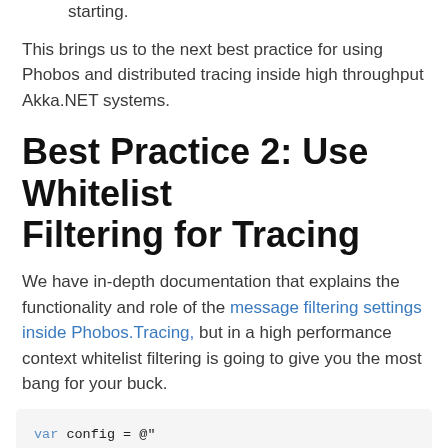starting.
This brings us to the next best practice for using Phobos and distributed tracing inside high throughput Akka.NET systems.
Best Practice 2: Use Whitelist Filtering for Tracing
We have in-depth documentation that explains the functionality and role of the message filtering settings inside Phobos.Tracing, but in a high performance context whitelist filtering is going to give you the most bang for your buck.
[Figure (screenshot): Code block showing: var config = @" akka.actor.provider = ""Phobos.Actor.PhobosActorRefProvider.Phobos.Actor""]